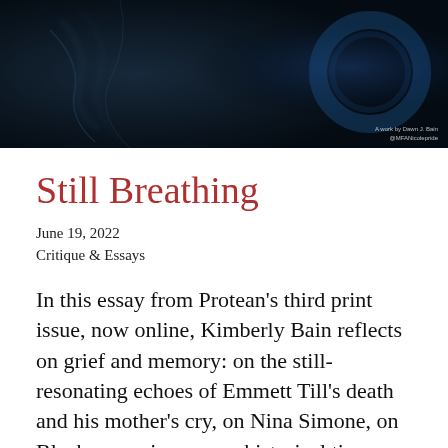[Figure (photo): Dark blue-toned photographic artwork showing abstract or biological imagery, with an art credit reading 'A work by Dawn J. Bain @MFANicolepride' in the bottom right corner.]
Still Breathing
June 19, 2022
Critique & Essays
In this essay from Protean’s third print issue, now online, Kimberly Bain reflects on grief and memory: on the still-resonating echoes of Emmett Till’s death and his mother’s cry, on Nina Simone, on Black mourning across historical time.